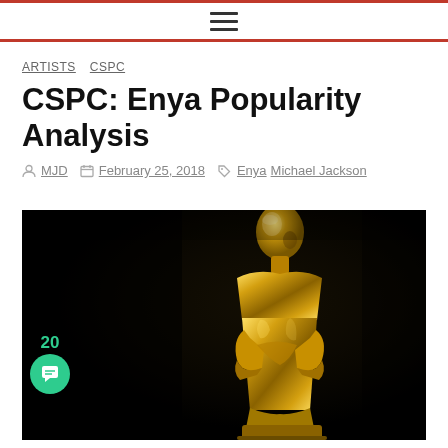ARTISTS  CSPC
CSPC: Enya Popularity Analysis
MJD  February 25, 2018  Enya  Michael Jackson
[Figure (photo): A gold Oscar statuette against a dark black background. The figure is shown from approximately the waist up, facing left, with a shiny metallic gold surface.]